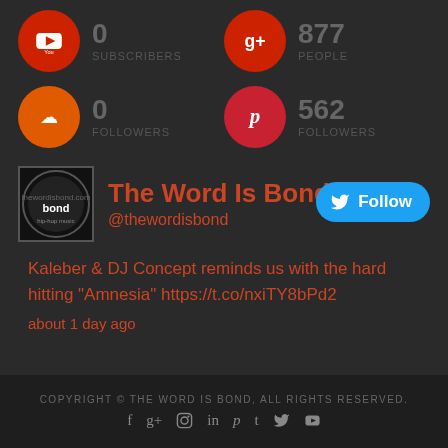[Figure (infographic): Social media stats widget showing YouTube (0 Subscribers), SoundCloud (0 Followers), Google+ (877 People), Pinterest (562 Followers)]
0 SUBSCRIBERS
877 PEOPLE
0 FOLLOWERS
562 FOLLOWERS
[Figure (logo): The Word Is Bond logo - circular black badge with 'bond' text]
The Word Is Bond
@thewordisbond
Follow
Kaleber & DJ Concept reminds us with the hard hitting "Amnesia" https://t.co/nxiTY8bPd2
about 1 day ago
COPYRIGHT © THE WORD IS BOND, ALL RIGHTS RESERVED.